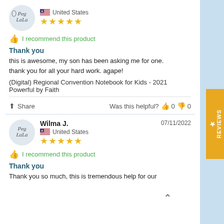[Figure (logo): Peg LaLa circular logo avatar]
United States
★★★★★
👍 I recommend this product
Thank you
this is awesome, my son has been asking me for one. thank you for all your hard work. agape!
(Digital) Regional Convention Notebook for Kids - 2021 Powerful by Faith
Share   Was this helpful? 👍 0 👎 0
[Figure (logo): Peg LaLa circular logo avatar for Wilma J.]
Wilma J.   07/11/2022
United States
★★★★★
👍 I recommend this product
Thank you
Thank you so much, this is tremendous help for our